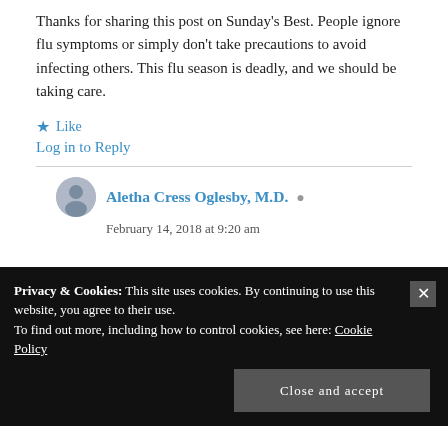Thanks for sharing this post on Sunday's Best. People ignore flu symptoms or simply don't take precautions to avoid infecting others. This flu season is deadly, and we should be taking care.
★ Like
Log in to Reply
Aletha Cress Oglesby, M.D.
February 14, 2018 at 9:20 am
Privacy & Cookies: This site uses cookies. By continuing to use this website, you agree to their use. To find out more, including how to control cookies, see here: Cookie Policy
Close and accept